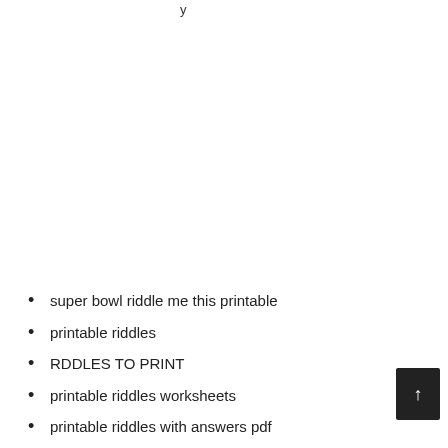super bowl riddle me this printable
printable riddles
RDDLES TO PRINT
printable riddles worksheets
printable riddles with answers pdf